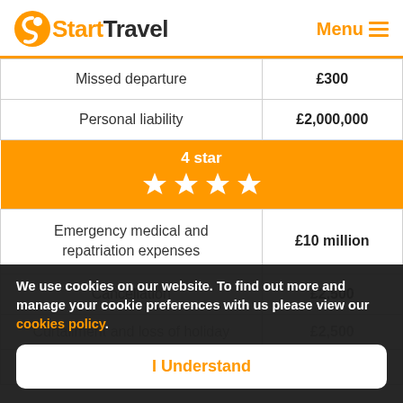StartTravel   Menu
| Coverage | Amount |
| --- | --- |
| Missed departure | £300 |
| Personal liability | £2,000,000 |
| 4 star ★★★★ |  |
| Emergency medical and repatriation expenses | £10 million |
| Cancellation | £2,500 |
| Curtailment and loss of holiday | £2,500 |
| Personal accident | £10,000 |
We use cookies on our website. To find out more and manage your cookie preferences with us please view our cookies policy.
I Understand